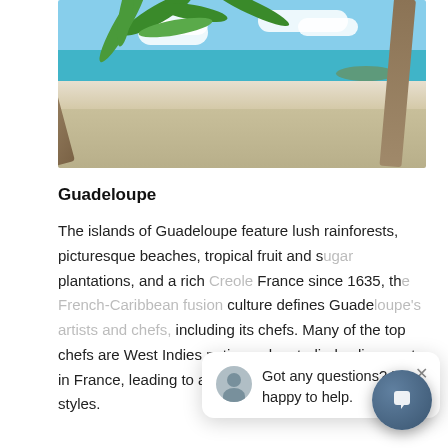[Figure (photo): A person hanging upside down from a leaning palm tree on a tropical beach with white sand, turquoise sea, blue sky and scattered clouds. Another island visible in the distance.]
Guadeloupe
The islands of Guadeloupe feature lush rainforests, picturesque beaches, tropical fruit and sugar plantations, and a rich Creole culture. Part of France since 1635, the French-Caribbean fusion culture defines Guadeloupe’s artists and chefs including its chefs. Many of the top chefs are West Indies natives who studied culinary arts in France, leading to a delicious fusing of the two styles.